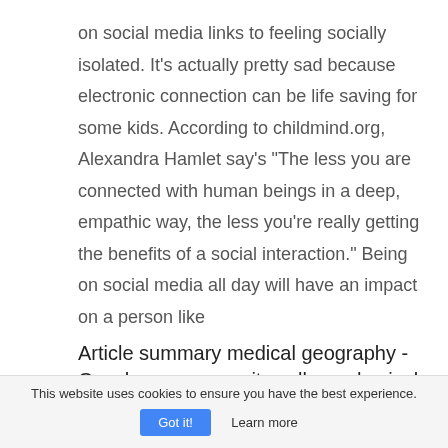on social media links to feeling socially isolated. It's actually pretty sad because electronic connection can be life saving for some kids. According to childmind.org, Alexandra Hamlet say's "The less you are connected with human beings in a deep, empathic way, the less you're really getting the benefits of a social interaction." Being on social media all day will have an impact on a person like
Article summary medical geography - Cuyahoga community college physical geography - Assignment
This website uses cookies to ensure you have the best experience. Got it! Learn more